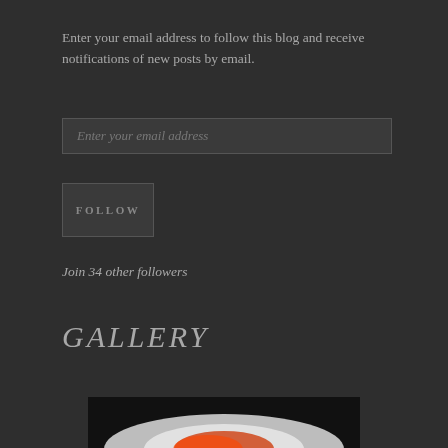Enter your email address to follow this blog and receive notifications of new posts by email.
[Figure (other): Email input field with placeholder text 'Enter your email address']
[Figure (other): Follow button with uppercase text 'FOLLOW']
Join 34 other followers
GALLERY
[Figure (photo): Partial image at bottom showing what appears to be a food item (sushi or similar) with white and orange/red colors against a dark background]